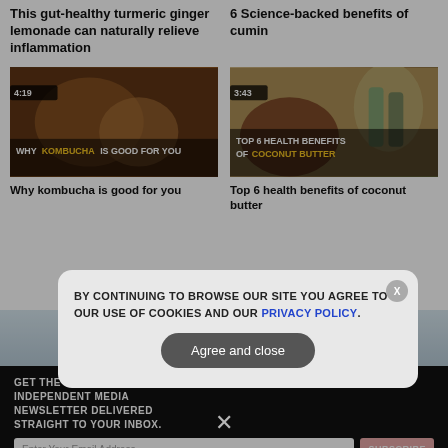This gut-healthy turmeric ginger lemonade can naturally relieve inflammation
6 Science-backed benefits of cumin
[Figure (screenshot): Video thumbnail: Why Kombucha is Good for You, duration 4:19]
[Figure (screenshot): Video thumbnail: Top 6 Health Benefits of Coconut Butter, duration 3:43]
Why kombucha is good for you
Top 6 health benefits of coconut butter
LAB-VERIFIED
GET THE WORLD'S BEST INDEPENDENT MEDIA NEWSLETTER DELIVERED STRAIGHT TO YOUR INBOX.
Enter Your Email Address
SUBSCRIBE
BY CONTINUING TO BROWSE OUR SITE YOU AGREE TO OUR USE OF COOKIES AND OUR PRIVACY POLICY.
Agree and close